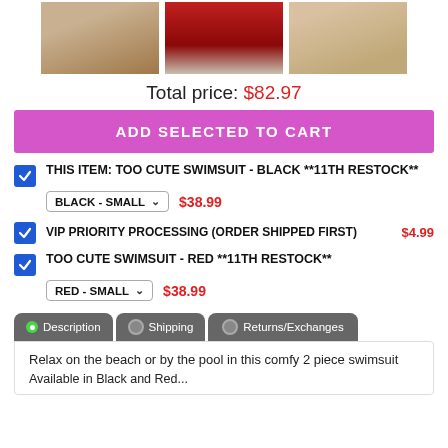[Figure (photo): Three product photos: left - person wearing black swimsuit, center - red carpet image, right - person on beach]
Total price: $82.97
ADD SELECTED TO CART
THIS ITEM: TOO CUTE SWIMSUIT - BLACK **11TH RESTOCK** BLACK - SMALL $38.99
VIP PRIORITY PROCESSING (ORDER SHIPPED FIRST) $4.99
TOO CUTE SWIMSUIT - RED **11TH RESTOCK** RED - SMALL $38.99
Description | Shipping | Returns/Exchanges
Relax on the beach or by the pool in this comfy 2 piece swimsuit